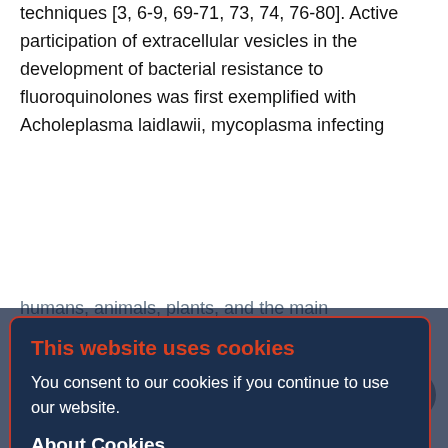techniques [3, 6-9, 69-71, 73, 74, 76-80]. Active participation of extracellular vesicles in the development of bacterial resistance to fluoroquinolones was first exemplified with Acholeplasma laidlawii, mycoplasma infecting
humans, animals, plants, and the main [71, 81]. A.laidlawii strains that differed in their susceptibility to ciprofloxacin were obtained by stepwise selection. It was found that vesicles produced by bacteria cells growing in a medium with ciprofloxacin mediate the cellular efflux of this drug, have bacteriostatic action against the antibiotic-sensitive Staphylococcus aureus strain, and transport the mutant genes of fluoroquinolone target proteins. Differential expression of ABC-transporter genes, which in some bacteria are involved in active efflux of
[Figure (screenshot): Cookie consent modal overlay with dark navy blue background and orange-red border. Title reads 'This website uses cookies' in orange-red bold text. Body text reads 'You consent to our cookies if you continue to use our website.' Subheader 'About Cookies' in white bold. Blue OK button centered at bottom.]